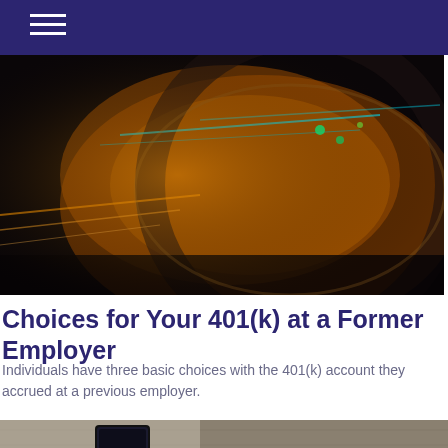[Figure (photo): A car side mirror reflecting night city traffic with colorful streaks of light on a dark road]
Choices for Your 401(k) at a Former Employer
Individuals have three basic choices with the 401(k) account they accrued at a previous employer.
[Figure (photo): A smartphone partially tucked into a bag or jacket pocket]